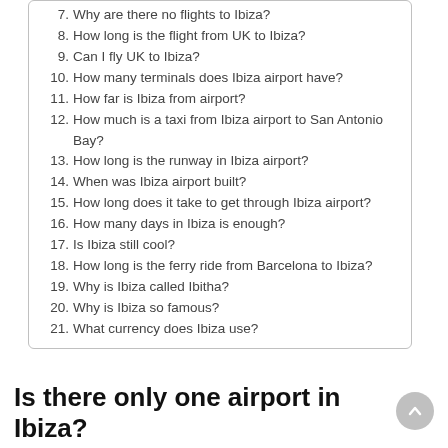7. Why are there no flights to Ibiza?
8. How long is the flight from UK to Ibiza?
9. Can I fly UK to Ibiza?
10. How many terminals does Ibiza airport have?
11. How far is Ibiza from airport?
12. How much is a taxi from Ibiza airport to San Antonio Bay?
13. How long is the runway in Ibiza airport?
14. When was Ibiza airport built?
15. How long does it take to get through Ibiza airport?
16. How many days in Ibiza is enough?
17. Is Ibiza still cool?
18. How long is the ferry ride from Barcelona to Ibiza?
19. Why is Ibiza called Ibitha?
20. Why is Ibiza so famous?
21. What currency does Ibiza use?
Is there only one airport in Ibiza?